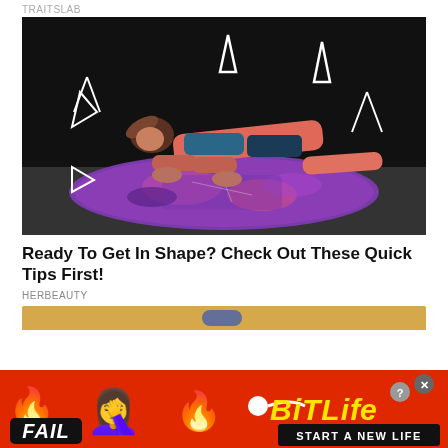TRAITSLAB
[Figure (photo): Woman in pink workout clothes doing a plank position on a colorful round yoga mat against a dark background, with decorative arrow/triangle graphic overlays]
Ready To Get In Shape? Check Out These Quick Tips First!
HERBEAUTY
[Figure (photo): Partial view of another article thumbnail, tan/gold colored image]
[Figure (screenshot): BitLife advertisement banner: red background with fire emoji, FAIL badge, blonde emoji person, flame graphic, sperm icon, BitLife logo in yellow italic text, 'START A NEW LIFE' text on black bar, close button X and question mark button]